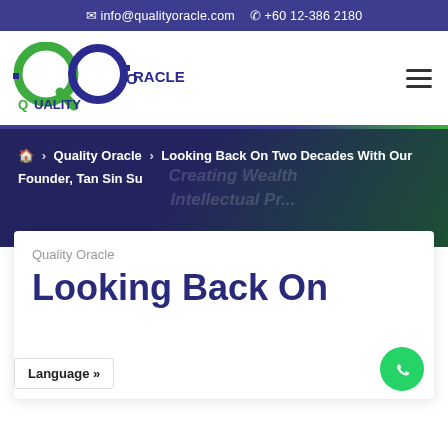✉ info@qualityoracle.com  ☎ +60 12-386 2180
[Figure (logo): Quality Oracle logo with green Q and blue O letters, text reading QUALITY ORACLE]
Looking Back On Two Decades With Our Founder, Tan Sin Su
🏠 › Quality Oracle › Looking Back On Two Decades With Our Founder, Tan Sin Su
Quality Oracle
Looking Back On